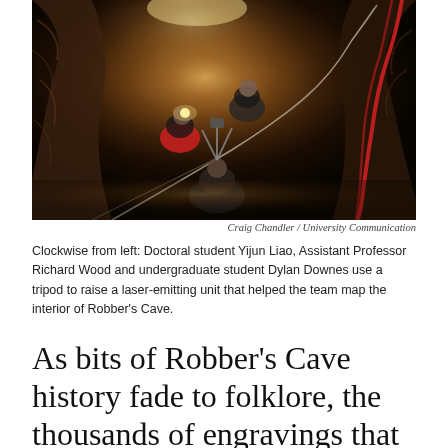[Figure (photo): Interior of Robber's Cave showing researchers using a tripod and ropes. The cave walls are rough sandstone. A laser-emitting unit is being raised. People visible include a woman in red jacket and others in dark clothing.]
Craig Chandler / University Communication
Clockwise from left: Doctoral student Yijun Liao, Assistant Professor Richard Wood and undergraduate student Dylan Downes use a tripod to raise a laser-emitting unit that helped the team map the interior of Robber's Cave.
As bits of Robber’s Cave history fade to folklore, the thousands of engravings that crowd its Dakota sandstone walls like graffiti are